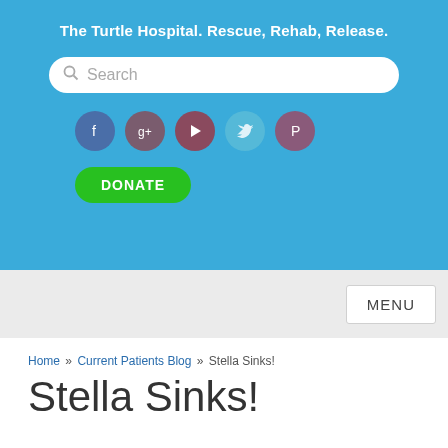The Turtle Hospital. Rescue, Rehab, Release.
Search
[Figure (infographic): Social media icons row: Facebook, Google+, YouTube, Twitter, Pinterest circular icons]
DONATE
MENU
Home » Current Patients Blog » Stella Sinks!
Stella Sinks!